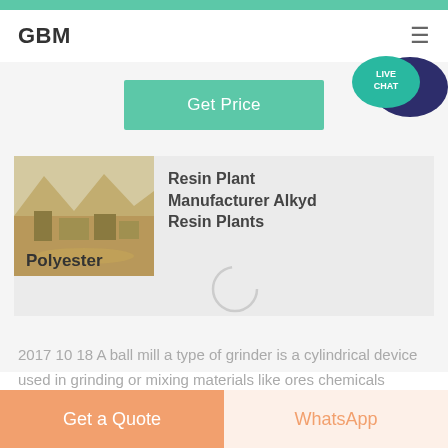GBM
[Figure (screenshot): GBM website screenshot with Get Price button, product card showing Resin Plant Manufacturer Alkyd Resin Plants with Polyester label, and body text about ball mill]
Get Price
Resin Plant Manufacturer Alkyd Resin Plants
Polyester
2017 10 18 A ball mill a type of grinder is a cylindrical device used in grinding or mixing materials like ores chemicals ceramic raw materials and paints Ball mills rotate
Get a Quote
WhatsApp